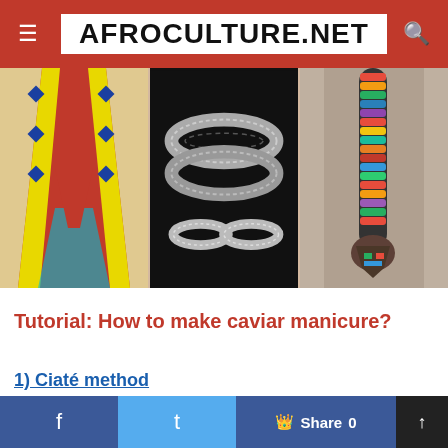AFROCULTURE.NET
[Figure (photo): Three-panel image strip: left panel shows a colorful native/African patterned dress in red, yellow, blue; center panel shows silver decorative bracelets/bangles on a black background; right panel shows a colorful beaded necklace with pendant.]
Tutorial: How to make caviar manicure?
1) Ciaté method
Two options are available to you, or you buy directly the Ciaté Brand Kit for about 22 € at Sephora. In the kit, there is as a material: a base, a top-coat, a Ciaté varnish and Ciaté beads.
f  Twitter  Share 0